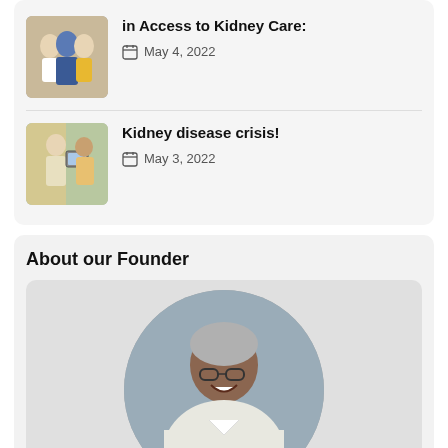[Figure (photo): Thumbnail photo of three women standing together, one in a blue dress and one in yellow.]
in Access to Kidney Care:
May 4, 2022
[Figure (photo): Thumbnail photo of a medical professional showing something on a tablet or device to a patient.]
Kidney disease crisis!
May 3, 2022
About our Founder
[Figure (photo): Portrait photo of an older woman with short gray hair and glasses, wearing a white coat, smiling, displayed in a circular frame.]